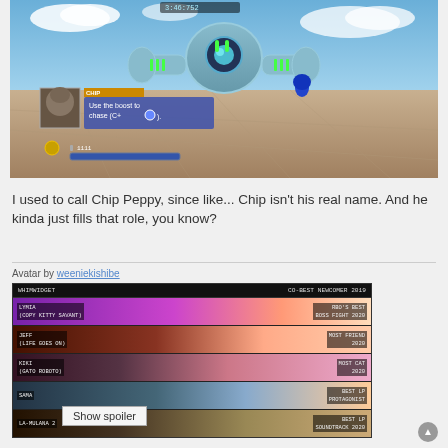[Figure (screenshot): Video game screenshot showing a boss fight in Sonic Unleashed. A large robotic enemy is visible in the center. Sonic (blue character) is running on a platform. A dialog box from Chip says 'Use the boost to chase (C+[button])'. HUD shows health gauge and coin. Timer shows 3:46:752.]
I used to call Chip Peppy, since like... Chip isn't his real name. And he kinda just fills that role, you know?
Avatar by weeniekishibe
[Figure (infographic): Award card with dark background listing: WHIMWIDGET - CO-BEST NEWCOMER 2019; LYMIA (COPY KITTY SAVANT) - RBO'S BEST BOSS FIGHT 2020; JEFF (LIFE GOES ON) - MOST FRIEND 2020; KIKI (GATO ROBOTO) - MOST CAT 2020; SAMA - BEST LP PROTAGONIST; LA-MULANA 2 - BEST LP SOUNDTRACK 2020]
Show spoiler